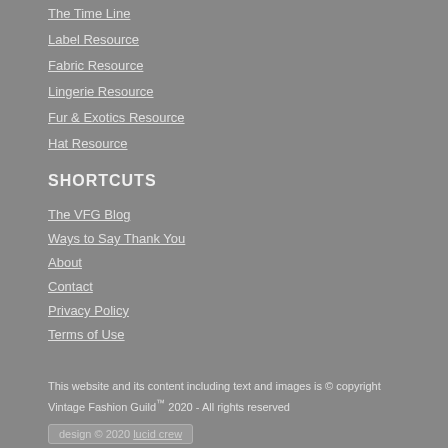The Time Line
Label Resource
Fabric Resource
Lingerie Resource
Fur & Exotics Resource
Hat Resource
SHORTCUTS
The VFG Blog
Ways to Say Thank You
About
Contact
Privacy Policy
Terms of Use
This website and its content including text and images is © copyright Vintage Fashion Guild™ 2020 - All rights reserved
design © 2020 lucid crew